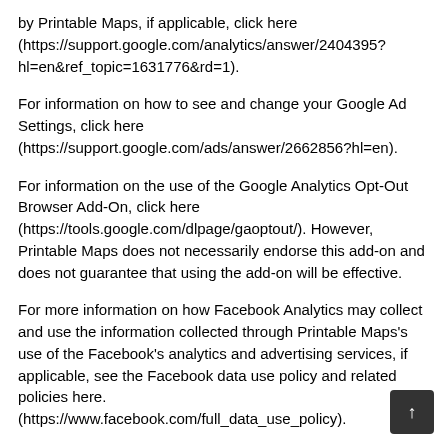by Printable Maps, if applicable, click here (https://support.google.com/analytics/answer/2404395?hl=en&ref_topic=1631776&rd=1).
For information on how to see and change your Google Ad Settings, click here (https://support.google.com/ads/answer/2662856?hl=en).
For information on the use of the Google Analytics Opt-Out Browser Add-On, click here (https://tools.google.com/dlpage/gaoptout/). However, Printable Maps does not necessarily endorse this add-on and does not guarantee that using the add-on will be effective.
For more information on how Facebook Analytics may collect and use the information collected through Printable Maps's use of the Facebook's analytics and advertising services, if applicable, see the Facebook data use policy and related policies here. (https://www.facebook.com/full_data_use_policy).